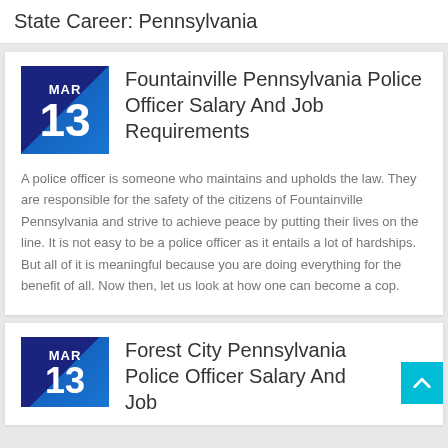State Career: Pennsylvania
Fountainville Pennsylvania Police Officer Salary And Job Requirements
A police officer is someone who maintains and upholds the law. They are responsible for the safety of the citizens of Fountainville Pennsylvania and strive to achieve peace by putting their lives on the line. It is not easy to be a police officer as it entails a lot of hardships. But all of it is meaningful because you are doing everything for the benefit of all. Now then, let us look at how one can become a cop.
Forest City Pennsylvania Police Officer Salary And Job